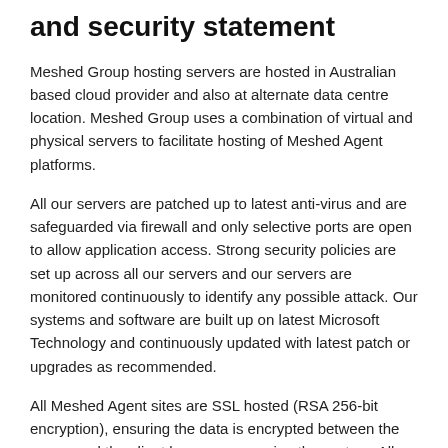and security statement
Meshed Group hosting servers are hosted in Australian based cloud provider and also at alternate data centre location. Meshed Group uses a combination of virtual and physical servers to facilitate hosting of Meshed Agent platforms.
All our servers are patched up to latest anti-virus and are safeguarded via firewall and only selective ports are open to allow application access. Strong security policies are set up across all our servers and our servers are monitored continuously to identify any possible attack. Our systems and software are built up on latest Microsoft Technology and continuously updated with latest patch or upgrades as recommended.
All Meshed Agent sites are SSL hosted (RSA 256-bit encryption), ensuring the data is encrypted between the server and the client browser accessing the system. All our clients Meshed Agent